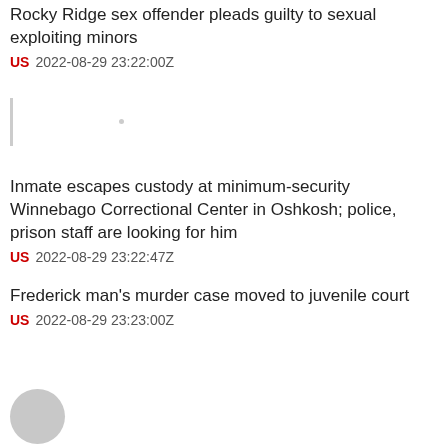Rocky Ridge sex offender pleads guilty to sexual exploiting minors
US  2022-08-29 23:22:00Z
[Figure (photo): Placeholder image area with vertical bar and dot]
Inmate escapes custody at minimum-security Winnebago Correctional Center in Oshkosh; police, prison staff are looking for him
US  2022-08-29 23:22:47Z
Frederick man's murder case moved to juvenile court
US  2022-08-29 23:23:00Z
[Figure (photo): Small circular placeholder image at bottom]